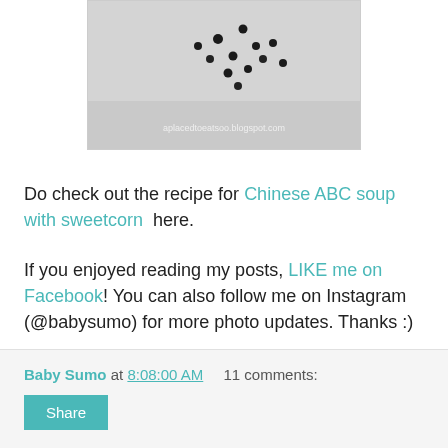[Figure (photo): Black and white photo of small dark seeds scattered on a light fuzzy surface, with a blogspot.com watermark visible]
Do check out the recipe for Chinese ABC soup with sweetcorn  here.
If you enjoyed reading my posts, LIKE me on Facebook! You can also follow me on Instagram (@babysumo) for more photo updates. Thanks :)
Baby Sumo at 8:08:00 AM    11 comments:
Share
Monday, January 19, 2015
Hanare Weekend Buffet + Plan B